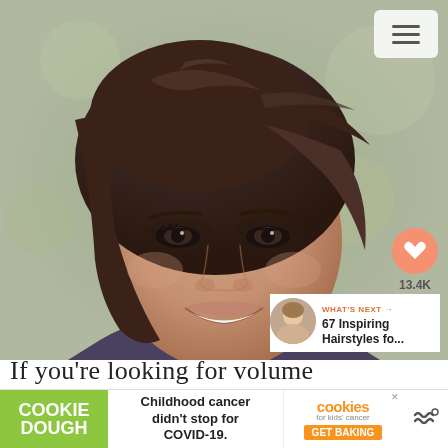[Figure (photo): Close-up photo of a young woman with a short brown pixie cut hairstyle with side-swept bangs, wearing dramatic smoky eye makeup, smiling. Background is a blurred green/grey bokeh.]
[Figure (screenshot): UI overlay on right side: menu/hamburger icon at top right, heart/like button with count 13.4K, share icon below.]
WHAT'S NEXT → 67 Inspiring Hairstyles fo...
If you're looking for volume
[Figure (infographic): Advertisement banner: Left green section reads 'COOKIE DOUGH', center text reads 'Childhood cancer didn't stop for COVID-19.', right orange section with cookies-for-kids-cancer logo and 'GET BAKING' button. Close X icon. Wavy lines icon on far right.]